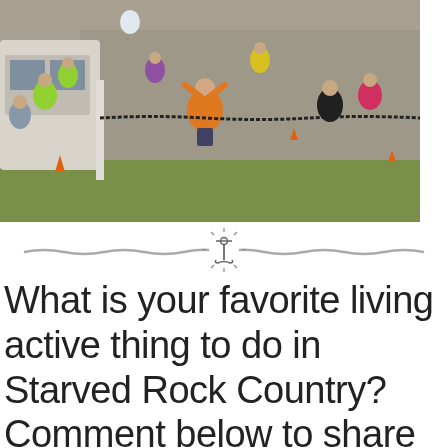[Figure (photo): Outdoor race finish line scene viewed from above. A runner in an orange shirt crosses the finish line with arms raised. Spectators and volunteers in neon green shirts line both sides. A chain/rope finish line is stretched across. Cones mark the course area. Cars and grass visible.]
[Figure (illustration): Decorative horizontal divider with a rope/chain design and an anchor icon in the center with sunburst rays.]
What is your favorite living active thing to do in Starved Rock Country?  Comment below to share with us!